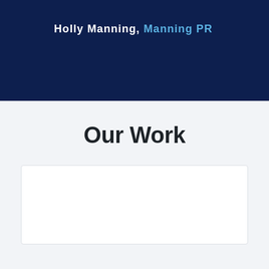Holly Manning, Manning PR
Our Work
[Figure (other): White card / content placeholder box with light border on a light grey background]